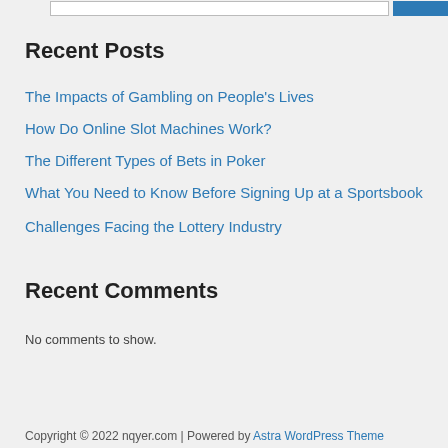Recent Posts
The Impacts of Gambling on People's Lives
How Do Online Slot Machines Work?
The Different Types of Bets in Poker
What You Need to Know Before Signing Up at a Sportsbook
Challenges Facing the Lottery Industry
Recent Comments
No comments to show.
Copyright © 2022 nqyer.com | Powered by Astra WordPress Theme